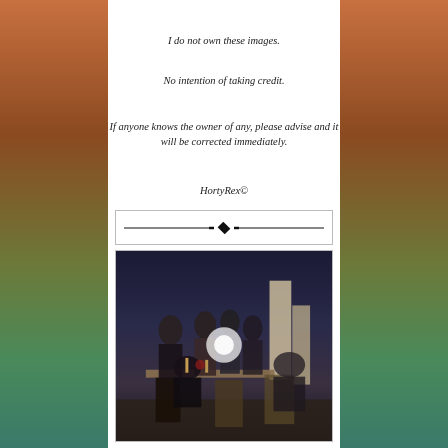I do not own these images.
No intention of taking credit.
If anyone knows the owner of any, please advise and it will be corrected immediately.
HortyRex©
[Figure (illustration): Decorative horizontal divider with a central diamond/dot motif and lines extending to both sides]
[Figure (photo): A nighttime outdoor dinner party scene with people in formal attire seated and standing around a table with candles and floral arrangements, architectural stone elements and dark sky in background]